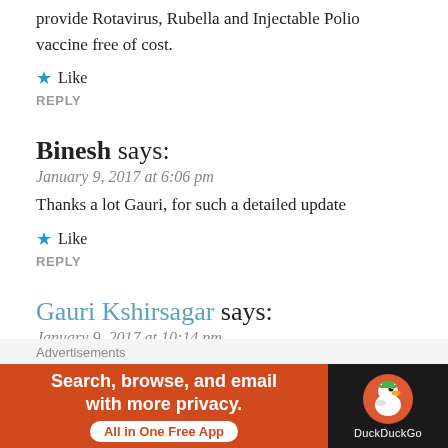provide Rotavirus, Rubella and Injectable Polio vaccine free of cost.
★ Like
REPLY
Binesh says:
January 9, 2017 at 6:06 pm
Thanks a lot Gauri, for such a detailed update
★ Like
REPLY
Gauri Kshirsagar says:
January 9, 2017 at 10:14 pm
You are welcome 😊
[Figure (infographic): DuckDuckGo advertisement banner: 'Search, browse, and email with more privacy. All in One Free App' with DuckDuckGo logo on dark background]